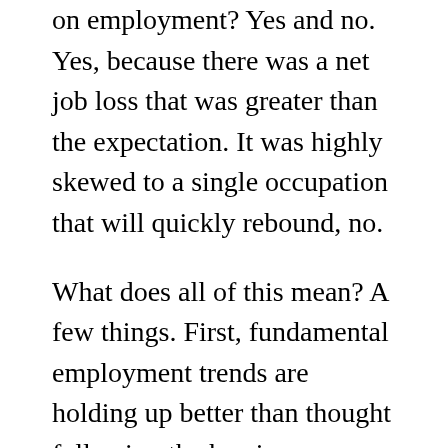on employment? Yes and no. Yes, because there was a net job loss that was greater than the expectation. It was highly skewed to a single occupation that will quickly rebound, no.
What does all of this mean? A few things. First, fundamental employment trends are holding up better than thought following the hurricanes, particularly in Texas. Therefore employment gains may surprise in the fourth quarter. But as a counter to it, housing might be a more significant drag than thought. And the consumer is the wildcard. Confidence is high, but the consumer will determine the trajectory of the economic recovery. Thus far, the economists appear more